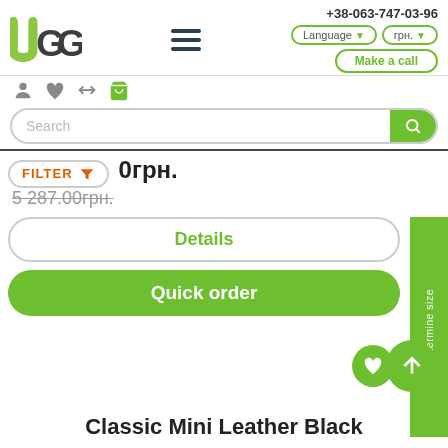UGG logo, hamburger menu, +38-063-747-03-96, Language, грн., Make a call
Search
FILTER  0грн.
5 287.00грн.
Details
Quick order
Determine size
Classic Mini Leather Black